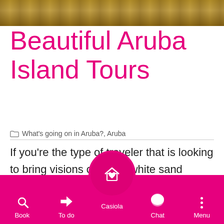[Figure (photo): Hero image showing a vehicle on sandy/rocky terrain in Aruba]
Beautiful Aruba Island Tours
📁 What's going on in Aruba?, Aruba
If you're the type of traveler that is looking to bring visions of sugar-white sand beaches to life and is passionate about hours spent soaking up the sun by gentle surf, then there's no place better to set your travel sights than the island of Aruba. This stunning and welcoming vacation destination is one where the concept of relaxation, and fun collide
Book | To do | Casiola | Chat | Menu